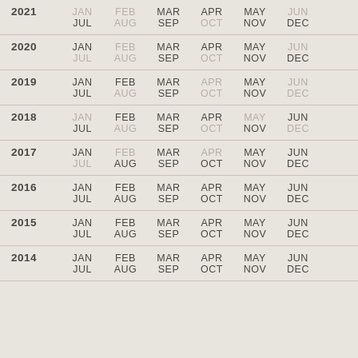| Year | M1 | M2 | M3 | M4 | M5 | M6 | M7 | M8 | M9 | M10 | M11 | M12 |
| --- | --- | --- | --- | --- | --- | --- | --- | --- | --- | --- | --- | --- |
| 2021 | JAN | FEB | MAR | APR | MAY | JUN | JUL | AUG | SEP | OCT | NOV | DEC |
| 2020 | JAN | FEB | MAR | APR | MAY | JUN | JUL | AUG | SEP | OCT | NOV | DEC |
| 2019 | JAN | FEB | MAR | APR | MAY | JUN | JUL | AUG | SEP | OCT | NOV | DEC |
| 2018 | JAN | FEB | MAR | APR | MAY | JUN | JUL | AUG | SEP | OCT | NOV | DEC |
| 2017 | JAN | FEB | MAR | APR | MAY | JUN | JUL | AUG | SEP | OCT | NOV | DEC |
| 2016 | JAN | FEB | MAR | APR | MAY | JUN | JUL | AUG | SEP | OCT | NOV | DEC |
| 2015 | JAN | FEB | MAR | APR | MAY | JUN | JUL | AUG | SEP | OCT | NOV | DEC |
| 2014 | JAN | FEB | MAR | APR | MAY | JUN | JUL | AUG | SEP | OCT | NOV | DEC |